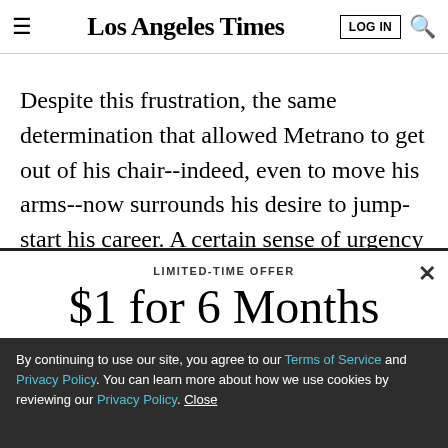Los Angeles Times
Despite this frustration, the same determination that allowed Metrano to get out of his chair--indeed, even to move his arms--now surrounds his desire to jump-start his career. A certain sense of urgency underscores the
LIMITED-TIME OFFER
$1 for 6 Months
SUBSCRIBE NOW
By continuing to use our site, you agree to our Terms of Service and Privacy Policy. You can learn more about how we use cookies by reviewing our Privacy Policy. Close